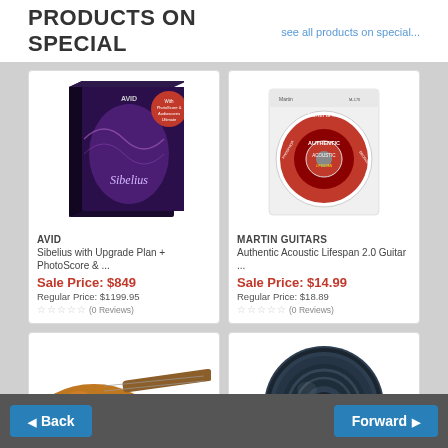PRODUCTS ON SPECIAL
see all products on special...
[Figure (photo): Avid Sibelius software box with purple/black design and red circular badge]
AVID
Sibelius with Upgrade Plan + PhotoScore & ...
Sale Price: $849
Regular Price: $1199.95
(0 Reviews)
[Figure (photo): Martin Guitars acoustic guitar strings package - red circular design on white card]
MARTIN GUITARS
Authentic Acoustic Lifespan 2.0 Guitar ...
Sale Price: $14.99
Regular Price: $18.89
(0 Reviews)
[Figure (photo): Orange/brown electric guitar partially visible at bottom]
[Figure (photo): Dark blue/black speaker driver visible at bottom right]
Back   Forward